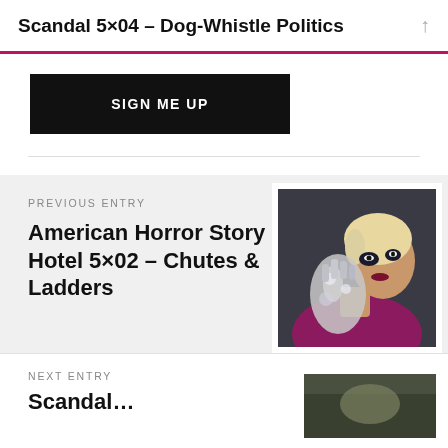Scandal 5×04 – Dog-Whistle Politics
[Figure (other): Black button with white uppercase text: SIGN ME UP]
PREVIOUS ENTRY
American Horror Story Hotel 5×02 – Chutes & Ladders
[Figure (photo): A glamorous woman with blonde hair, dramatic makeup, and a silver glittered hand/glove, wearing a magenta/purple outfit]
NEXT ENTRY